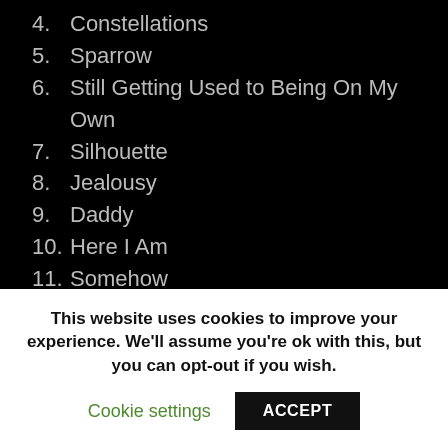4. Constellations
5. Sparrow
6. Still Getting Used to Being On My Own
7. Silhouette
8. Jealousy
9. Daddy
10. Here I Am
11. Somehow
The deluxe version of the album features a further four tracks:
12. She Don't Belong To Me
13. Mystery
This website uses cookies to improve your experience. We'll assume you're ok with this, but you can opt-out if you wish.
Cookie settings | ACCEPT